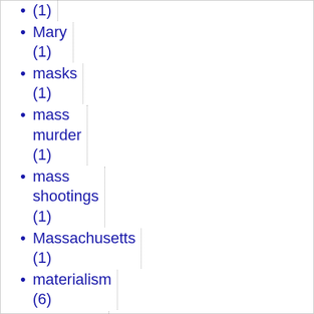(1)
Mary (1)
masks (1)
mass murder (1)
mass shootings (1)
Massachusetts (1)
materialism (6)
materialist (1)
Matt Walsh (1)
Matthewn Sheperd (1)
Mayflower Compact (1)